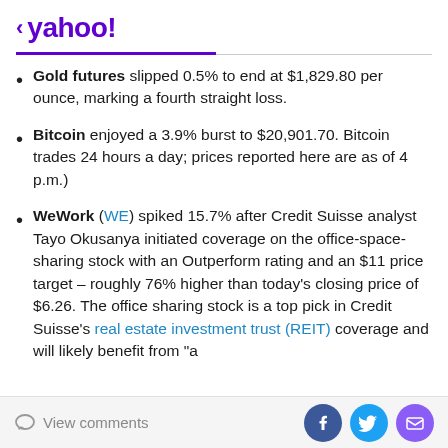< yahoo!
Gold futures slipped 0.5% to end at $1,829.80 per ounce, marking a fourth straight loss.
Bitcoin enjoyed a 3.9% burst to $20,901.70. Bitcoin trades 24 hours a day; prices reported here are as of 4 p.m.)
WeWork (WE) spiked 15.7% after Credit Suisse analyst Tayo Okusanya initiated coverage on the office-space-sharing stock with an Outperform rating and an $11 price target – roughly 76% higher than today's closing price of $6.26. The office sharing stock is a top pick in Credit Suisse's real estate investment trust (REIT) coverage and will likely benefit from "a
View comments